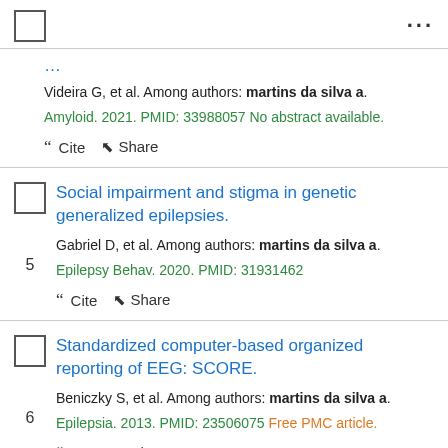checkbox and menu dots
Videira G, et al. Among authors: martins da silva a. Amyloid. 2021. PMID: 33988057 No abstract available.
Cite Share
Social impairment and stigma in genetic generalized epilepsies.
Gabriel D, et al. Among authors: martins da silva a. Epilepsy Behav. 2020. PMID: 31931462
Cite Share
Standardized computer-based organized reporting of EEG: SCORE.
Beniczky S, et al. Among authors: martins da silva a. Epilepsia. 2013. PMID: 23506075 Free PMC article.
Cite Share